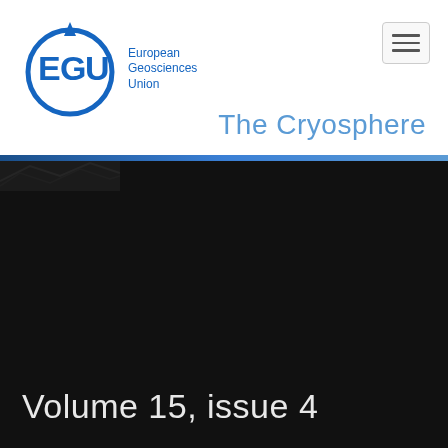[Figure (logo): EGU European Geosciences Union circular logo in blue with E, G, U letters and a globe/orbit graphic]
The Cryosphere
[Figure (photo): Dark aerial or satellite photo of a cryosphere landscape, mostly black/dark tones with subtle terrain features visible in top-left corner]
Volume 15, issue 4